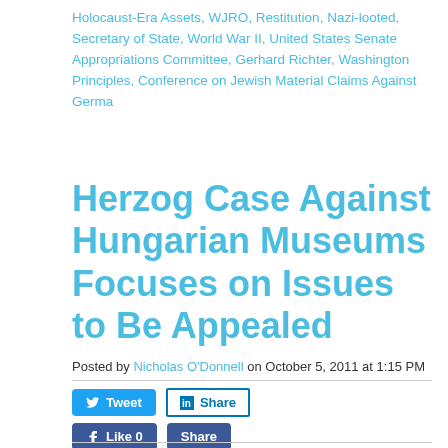Holocaust-Era Assets, WJRO, Restitution, Nazi-looted, Secretary of State, World War II, United States Senate Appropriations Committee, Gerhard Richter, Washington Principles, Conference on Jewish Material Claims Against Germa
Herzog Case Against Hungarian Museums Focuses on Issues to Be Appealed
Posted by Nicholas O'Donnell on October 5, 2011 at 1:15 PM